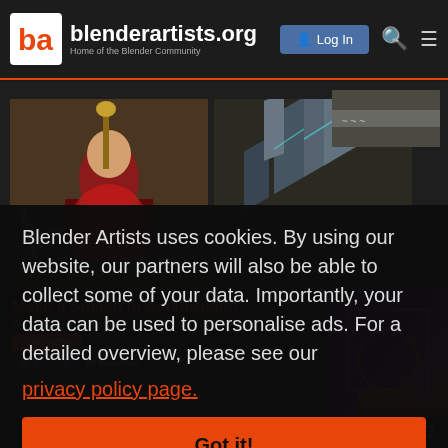blenderartists.org — Home of the Blender Community
[Figure (screenshot): Blender Artists community artwork thumbnails: a fantasy warrior character and an isometric city scene]
[Figure (screenshot): Small preview thumbnail in upper right area]
Make a Splash in Amsterdam!
Win a trip to the Blender Conference 2022
JOIN NOW
Sketchfab
Blender Artists uses cookies. By using our website, our partners will also be able to collect some of your data. Importantly, your data can be used to personalise ads. For a detailed overview, please see our privacy policy page.
Got it!
1 / 2